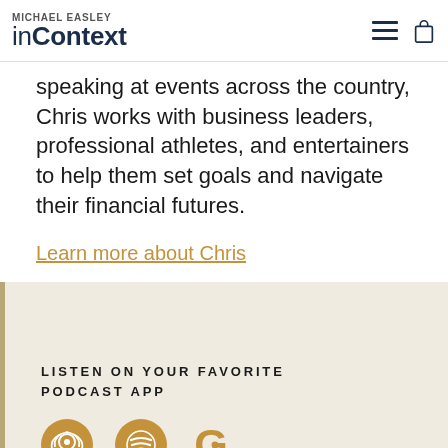MICHAEL EASLEY inContext
speaking at events across the country, Chris works with business leaders, professional athletes, and entertainers to help them set goals and navigate their financial futures.
Learn more about Chris
LISTEN ON YOUR FAVORITE PODCAST APP
[Figure (logo): Three podcast app icons: Apple Podcasts, Spotify, and Google Podcasts, rendered in golden/tan color]